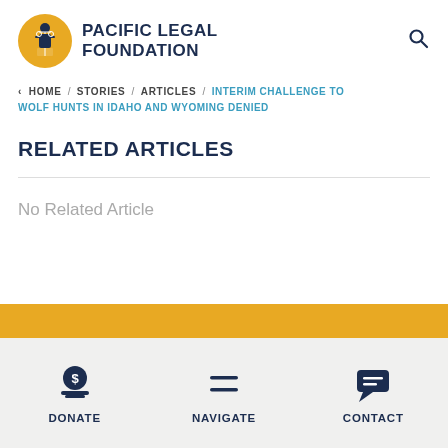[Figure (logo): Pacific Legal Foundation logo: circular yellow badge with a figure of Justice, next to bold navy uppercase text 'PACIFIC LEGAL FOUNDATION']
< HOME / STORIES / ARTICLES / INTERIM CHALLENGE TO WOLF HUNTS IN IDAHO AND WYOMING DENIED
RELATED ARTICLES
No Related Article
DONATE   NAVIGATE   CONTACT